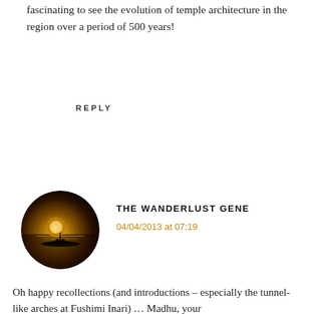fascinating to see the evolution of temple architecture in the region over a period of 500 years!
REPLY
[Figure (photo): Circular avatar image showing a silhouette of a boat on golden water at sunset/dusk]
THE WANDERLUST GENE
04/04/2013 at 07:19
Oh happy recollections (and introductions – especially the tunnel-like arches at Fushimi Inari) … Madhu, your …did …ollection …ent me off on a different journey …
adventures ahead of me. The difference, I understand … that it is made fascinating the fine of anticipation d
The Urge To Wander uses cookies to enhance your experience on this website. By continuing to use the site you consent to our cookies. Privacy Policy
OK